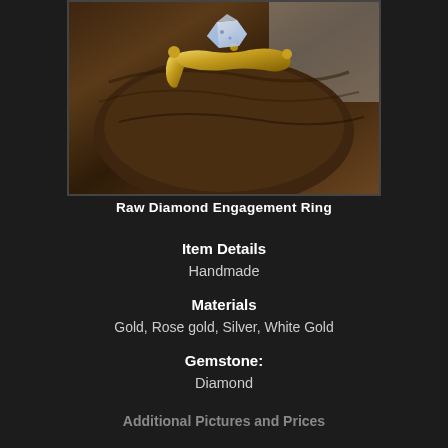[Figure (photo): A raw diamond engagement ring with gold band resting on a dark wood surface. The ring features a rough, uncut diamond stone held by gold prongs, with an organic branch-like gold band design.]
Raw Diamond Engagement Ring
Item Details
Handmade
Materials
Gold, Rose gold, Silver, White Gold
Gemstone:
Diamond
Additional Pictures and Prices